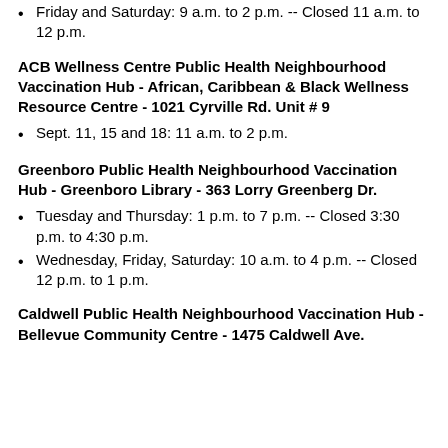Friday and Saturday: 9 a.m. to 2 p.m. -- Closed 11 a.m. to 12 p.m.
ACB Wellness Centre Public Health Neighbourhood Vaccination Hub - African, Caribbean & Black Wellness Resource Centre - 1021 Cyrville Rd. Unit # 9
Sept. 11, 15 and 18: 11 a.m. to 2 p.m.
Greenboro Public Health Neighbourhood Vaccination Hub - Greenboro Library - 363 Lorry Greenberg Dr.
Tuesday and Thursday: 1 p.m. to 7 p.m. -- Closed 3:30 p.m. to 4:30 p.m.
Wednesday, Friday, Saturday: 10 a.m. to 4 p.m. -- Closed 12 p.m. to 1 p.m.
Caldwell Public Health Neighbourhood Vaccination Hub - Bellevue Community Centre - 1475 Caldwell Ave.